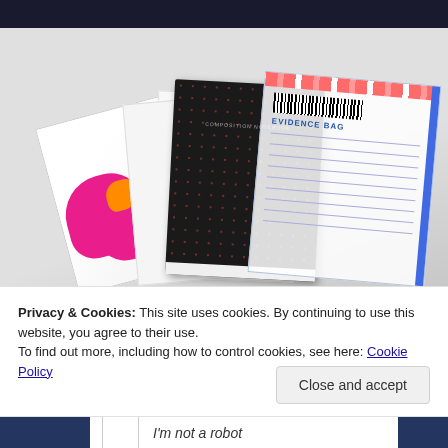[Figure (photo): Photo of notebooks, papers, and an evidence bag spread on a light grey surface. Items include a colorful pink/white notebook, white papers, a black spiral-pattern hardcover notebook, and a clear evidence bag with barcode and red/orange striped seal.]
Privacy & Cookies: This site uses cookies. By continuing to use this website, you agree to their use.
To find out more, including how to control cookies, see here: Cookie Policy
Close and accept
I'm not a robot